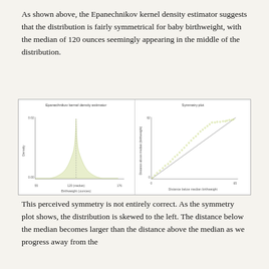As shown above, the Epanechnikov kernel density estimator suggests that the distribution is fairly symmetrical for baby birthweight, with the median of 120 ounces seemingly appearing in the middle of the distribution.
[Figure (continuous-plot): Two side-by-side plots. Left: Epanechnikov kernel density estimator showing a bell-shaped, roughly symmetric distribution for birthweight (ounces), with x-axis from ~55 to 176, peak at 120 (median), y-axis Density from 0.00 to 0.02. Right: Symmetry plot showing distance above median birthweight (y-axis, 0 to 62) vs distance below median birthweight (x-axis, 0 to 65), with a diagonal reference line and scattered points mostly along it.]
This perceived symmetry is not entirely correct. As the symmetry plot shows, the distribution is skewed to the left. The distance below the median becomes larger than the distance above the median as we progress away from the